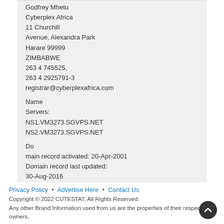Godfrey Mhetu
Cyberplex Africa
11 Churchill Avenue, Alexandra Park
Harare 99999
ZIMBABWE
263 4 745525,
263 4 2925791-3
registrar@cyberplexafrica.com

Name Servers:
NS1.VM3273.SGVPS.NET
NS2.VM3273.SGVPS.NET

Do main record activated: 20-Apr-2001
Domain record last updated: 30-Aug-2016
Domain expires: 31-Jul-2018
Privacy Policy • Advertise Here • Contact Us
Copyright © 2022 CUTESTAT, All Rights Reserved.
Any other Brand Information used from us are the properties of their respective owners.